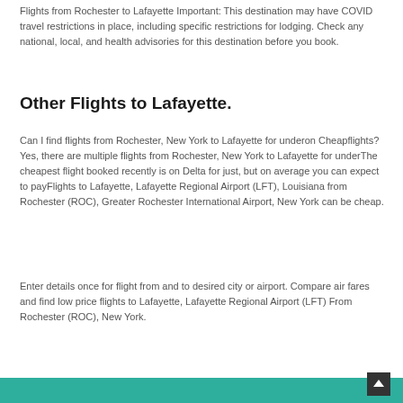Flights from Rochester to Lafayette Important: This destination may have COVID travel restrictions in place, including specific restrictions for lodging. Check any national, local, and health advisories for this destination before you book.
Other Flights to Lafayette.
Can I find flights from Rochester, New York to Lafayette for underon Cheapflights? Yes, there are multiple flights from Rochester, New York to Lafayette for underThe cheapest flight booked recently is on Delta for just, but on average you can expect to payFlights to Lafayette, Lafayette Regional Airport (LFT), Louisiana from Rochester (ROC), Greater Rochester International Airport, New York can be cheap.
Enter details once for flight from and to desired city or airport. Compare air fares and find low price flights to Lafayette, Lafayette Regional Airport (LFT) From Rochester (ROC), New York.